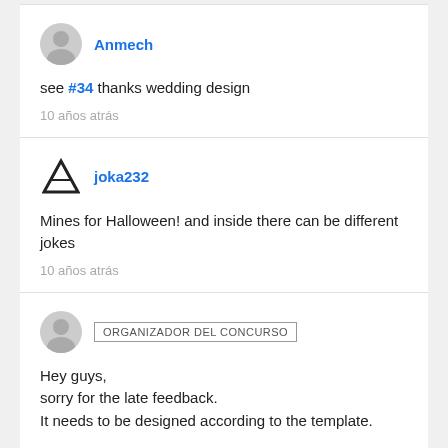Anmech
see #34 thanks wedding design
10 años atrás
joka232
Mines for Halloween! and inside there can be different jokes
10 años atrás
ORGANIZADOR DEL CONCURSO
Hey guys,
sorry for the late feedback.
It needs to be designed according to the template.